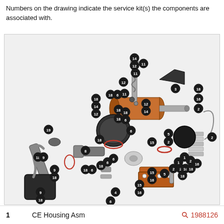Numbers on the drawing indicate the service kit(s) the components are associated with.
[Figure (engineering-diagram): Exploded view diagram of CE Housing Assembly showing numbered components (1-19) with service kit associations indicated by numbered black circles on each part. Components include housing parts, springs, seals, armature, and various mechanical sub-assemblies with copper and metallic finishes.]
1       CE Housing Asm       1988126